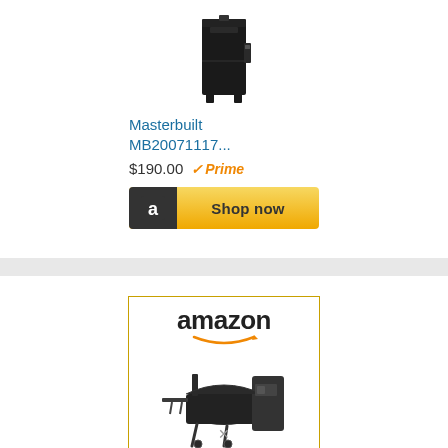[Figure (photo): Masterbuilit vertical electric smoker product photo, black unit on white background]
Masterbuilt MB20071117...
$190.00  ✓Prime
[Figure (other): Shop now button with Amazon 'a' logo icon, gold/yellow gradient background]
[Figure (other): Amazon advertisement box with amazon logo text, orange arrow, and pellet grill/smoker product photo]